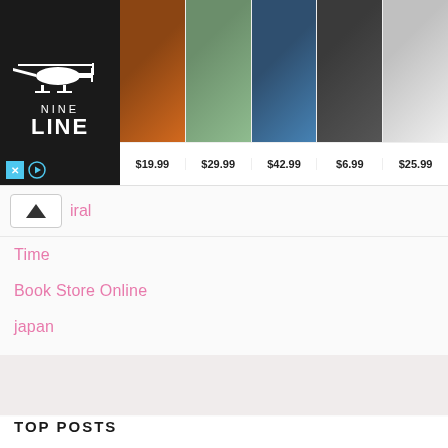[Figure (screenshot): Nine Line apparel advertisement banner with product images and prices: $19.99, $29.99, $42.99, $6.99, $25.99]
iral
Time
Book Store Online
japan
America Mall
China news
TOP POSTS